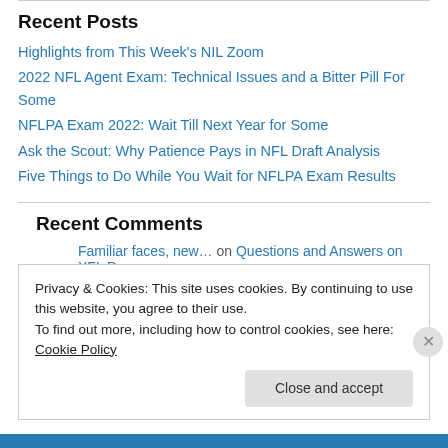Recent Posts
Highlights from This Week's NIL Zoom
2022 NFL Agent Exam: Technical Issues and a Bitter Pill For Some
NFLPA Exam 2022: Wait Till Next Year for Some
Ask the Scout: Why Patience Pays in NFL Draft Analysis
Five Things to Do While You Wait for NFLPA Exam Results
Recent Comments
Familiar faces, new… on Questions and Answers on XFL P…
Privacy & Cookies: This site uses cookies. By continuing to use this website, you agree to their use.
To find out more, including how to control cookies, see here: Cookie Policy